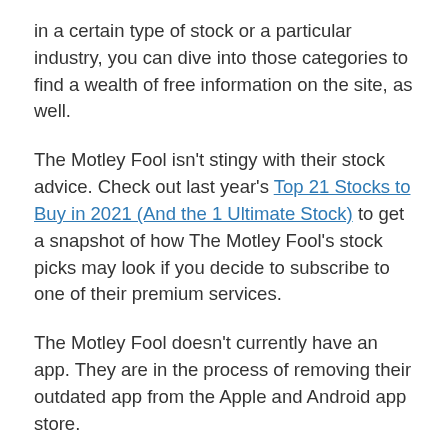in a certain type of stock or a particular industry, you can dive into those categories to find a wealth of free information on the site, as well.
The Motley Fool isn't stingy with their stock advice. Check out last year's Top 21 Stocks to Buy in 2021 (And the 1 Ultimate Stock) to get a snapshot of how The Motley Fool's stock picks may look if you decide to subscribe to one of their premium services.
The Motley Fool doesn't currently have an app. They are in the process of removing their outdated app from the Apple and Android app store.
Are Motley Fool Stock Picks